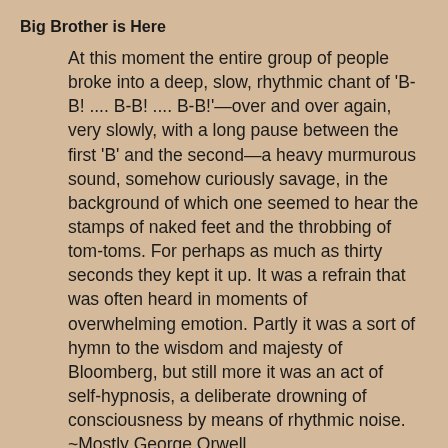Big Brother is Here
At this moment the entire group of people broke into a deep, slow, rhythmic chant of 'B-B! .... B-B! .... B-B!'—over and over again, very slowly, with a long pause between the first 'B' and the second—a heavy murmurous sound, somehow curiously savage, in the background of which one seemed to hear the stamps of naked feet and the throbbing of tom-toms. For perhaps as much as thirty seconds they kept it up. It was a refrain that was often heard in moments of overwhelming emotion. Partly it was a sort of hymn to the wisdom and majesty of Bloomberg, but still more it was an act of self-hypnosis, a deliberate drowning of consciousness by means of rhythmic noise.  ~Mostly George Orwell